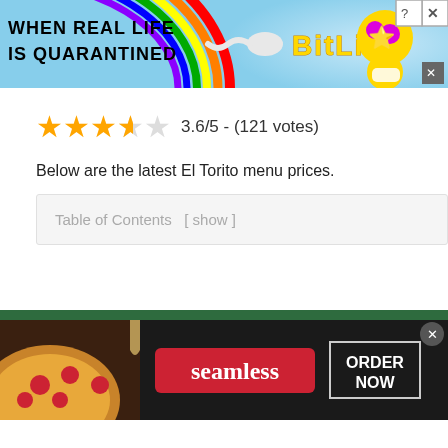[Figure (screenshot): BitLife advertisement banner: rainbow on left with text 'WHEN REAL LIFE IS QUARANTINED', sperm emoji icon, BitLife logo in yellow bold text on blue ray background, star emoji character, close and question mark buttons top right]
3.6/5 - (121 votes)
Below are the latest El Torito menu prices.
Table of Contents  [ show ]
| ITEM | PRICE |
| --- | --- |
[Figure (screenshot): Seamless food delivery advertisement: pizza photo on left, red Seamless button in center, ORDER NOW button with border on right, dark background, x close button top right]